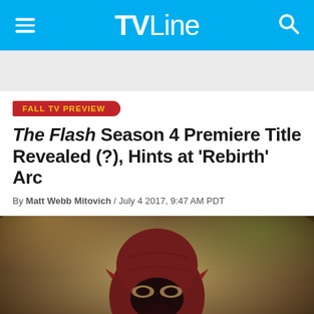TVLine
[Figure (photo): TVLine website screenshot showing article page with hamburger menu icon on left, TVLine logo in center, and search icon on right in a cyan/blue header bar]
FALL TV PREVIEW
The Flash Season 4 Premiere Title Revealed (?), Hints at 'Rebirth' Arc
By Matt Webb Mitovich / July 4 2017, 9:47 AM PDT
[Figure (photo): Photo of The Flash superhero character in dark red/maroon suit with cowl and eye mask, looking downward, with blurred outdoor background]